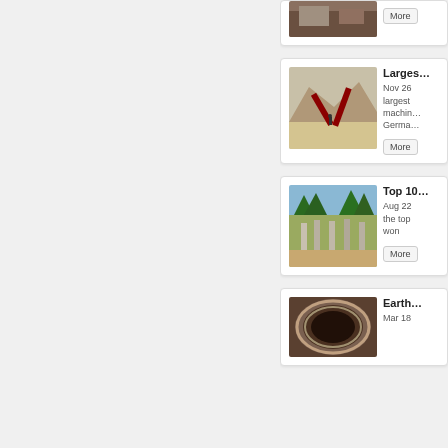[Figure (photo): Partial card at top: photo of mining or industrial site with a More button]
[Figure (photo): Card with photo of open-pit mining site with large machinery and conveyor structures]
Larges...
Nov 26 ... largest ... machin... German...
[Figure (photo): Card with photo of concrete columns in a forest/outdoor setting]
Top 10...
Aug 22 ... the top ... won
[Figure (photo): Card with photo showing a circular tunnel opening]
Earth...
Mar 18...